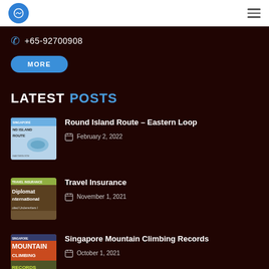logo and hamburger menu
+65-92700908
MORE
LATEST POSTS
Round Island Route – Eastern Loop
February 2, 2022
[Figure (photo): Thumbnail map of Singapore Round Island Route]
Travel Insurance
November 1, 2021
[Figure (photo): Thumbnail of Diplomat International travel insurance book]
Singapore Mountain Climbing Records
October 1, 2021
[Figure (photo): Thumbnail for Singapore Mountain Climbing Records]